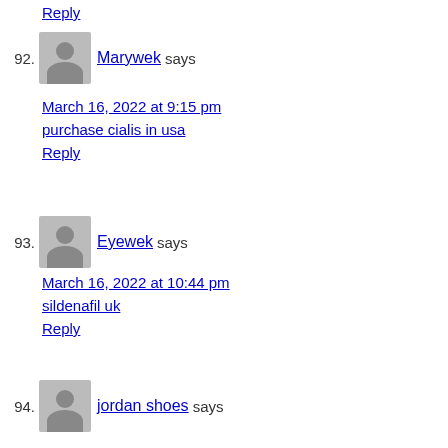Reply
92. Marywek says
March 16, 2022 at 9:15 pm
purchase cialis in usa
Reply
93. Eyewek says
March 16, 2022 at 10:44 pm
sildenafil uk
Reply
94. jordan shoes says